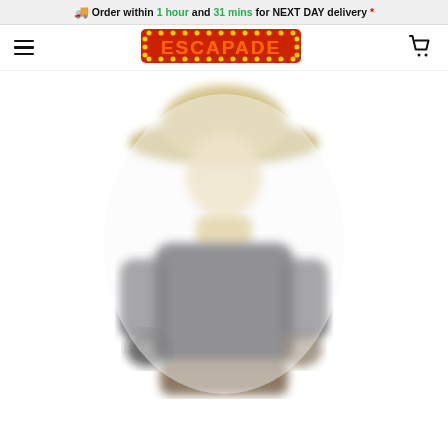🚚 Order within 1 hour and 31 mins for NEXT DAY delivery *
[Figure (logo): Escapade costume shop logo in marquee-light style with orange/red letters and yellow dot border]
[Figure (photo): Blurred/defocused photo of person wearing cowboy hat and dark outfit, costume product image]